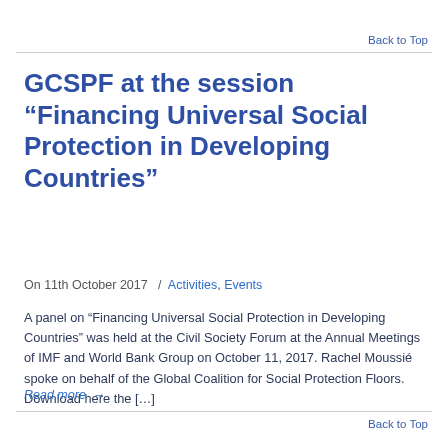Back to Top
GCSPF at the session “Financing Universal Social Protection in Developing Countries”
On 11th October 2017   /   Activities, Events
A panel on “Financing Universal Social Protection in Developing Countries” was held at the Civil Society Forum at the Annual Meetings of IMF and World Bank Group on October 11, 2017. Rachel Moussié spoke on behalf of the Global Coalition for Social Protection Floors. Download here the […]
Read more →
Back to Top